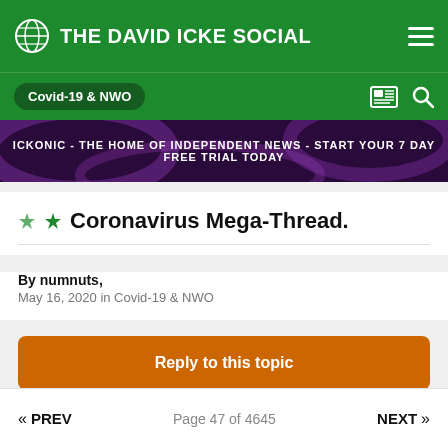THE DAVID ICKE SOCIAL
Covid-19 & NWO
[Figure (screenshot): Banner advertisement: ICKONIC - THE HOME OF INDEPENDENT NEWS - START YOUR 7 DAY FREE TRIAL TODAY]
Coronavirus Mega-Thread.
By numnuts,
May 16, 2020 in Covid-19 & NWO
Reply to this topic
« PREV   Page 47 of 4645   NEXT »